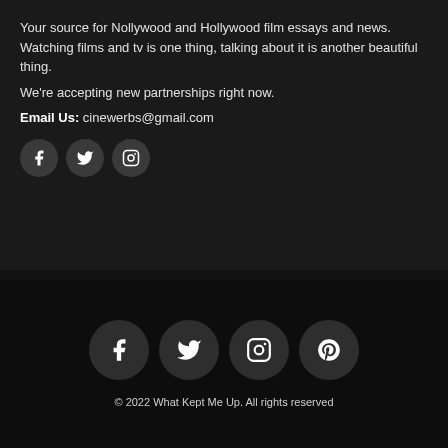Your source for Nollywood and Hollywood film essays and news.
Watching films and tv is one thing, talking about it is another beautiful thing.
We're accepting new partnerships right now.
Email Us: cinewerbs@gmail.com
[Figure (other): Three social media icon circles (Facebook, Twitter, Instagram) on dark background]
[Figure (other): Four social media icon circles (Facebook, Twitter, Instagram, Pinterest) on dark background]
© 2022 What Kept Me Up. All rights reserved